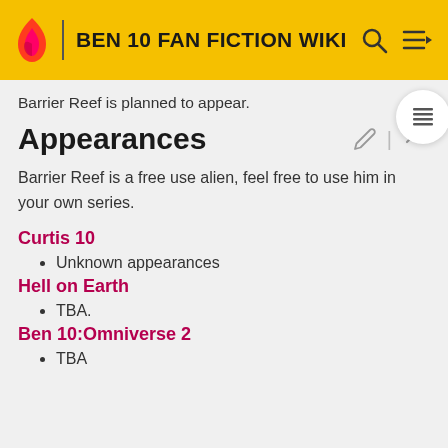BEN 10 FAN FICTION WIKI
Barrier Reef is planned to appear.
Appearances
Barrier Reef is a free use alien, feel free to use him in your own series.
Curtis 10
Unknown appearances
Hell on Earth
TBA.
Ben 10:Omniverse 2
TBA